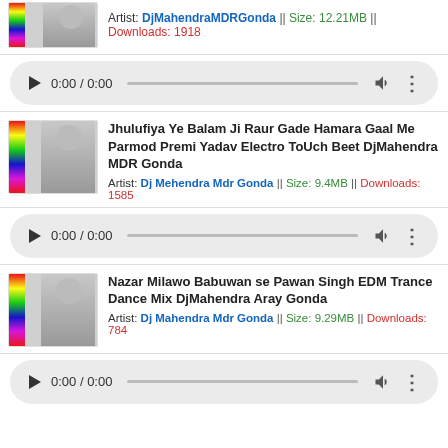Artist: DjMahendraMDRGonda || Size: 12.21MB || Downloads: 1918
[Figure (screenshot): Audio player bar showing play button, 0:00 / 0:00 time, progress track, volume and more icons]
Jhulufiya Ye Balam Ji Raur Gade Hamara Gaal Me Parmod Premi Yadav Electro ToUch Beet DjMahendra MDR Gonda
Artist: Dj Mehendra Mdr Gonda || Size: 9.4MB || Downloads: 1585
[Figure (screenshot): Audio player bar showing play button, 0:00 / 0:00 time, progress track, volume and more icons]
Nazar Milawo Babuwan se Pawan Singh EDM Trance Dance Mix DjMahendra Aray Gonda
Artist: Dj Mahendra Mdr Gonda || Size: 9.29MB || Downloads: 784
[Figure (screenshot): Audio player bar showing play button, 0:00 / 0:00 time, progress track, volume and more icons]